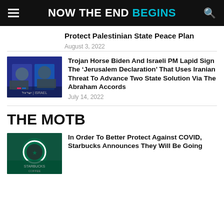NOW THE END BEGINS
Protect Palestinian State Peace Plan
August 3, 2022
[Figure (photo): Two men in suits at a podium with Israeli flag and Hebrew text in background]
Trojan Horse Biden And Israeli PM Lapid Sign The ‘Jerusalem Declaration’ That Uses Iranian Threat To Advance Two State Solution Via The Abraham Accords
July 14, 2022
THE MOTB
[Figure (photo): Starbucks coffee shop exterior with logo at night]
In Order To Better Protect Against COVID, Starbucks Announces They Will Be Going